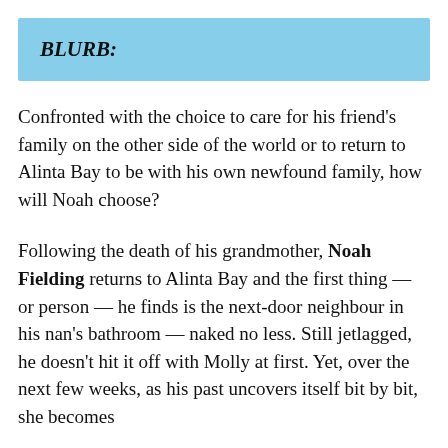BLURB:
Confronted with the choice to care for his friend's family on the other side of the world or to return to Alinta Bay to be with his own newfound family, how will Noah choose?
Following the death of his grandmother, Noah Fielding returns to Alinta Bay and the first thing — or person — he finds is the next-door neighbour in his nan's bathroom — naked no less. Still jetlagged, he doesn't hit it off with Molly at first. Yet, over the next few weeks, as his past uncovers itself bit by bit, she becomes